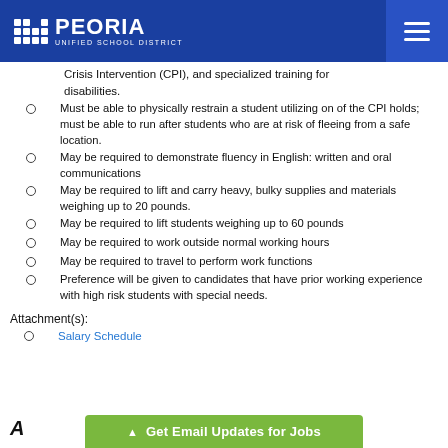Peoria Unified School District
Crisis Intervention (CPI), and specialized training for disabilities.
Must be able to physically restrain a student utilizing on of the CPI holds; must be able to run after students who are at risk of fleeing from a safe location.
May be required to demonstrate fluency in English: written and oral communications
May be required to lift and carry heavy, bulky supplies and materials weighing up to 20 pounds.
May be required to lift students weighing up to 60 pounds
May be required to work outside normal working hours
May be required to travel to perform work functions
Preference will be given to candidates that have prior working experience with high risk students with special needs.
Attachment(s):
Salary Schedule
▲ Get Email Updates for Jobs